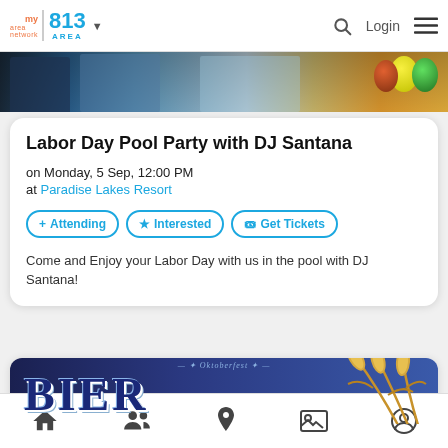my area network | 813 AREA | Login
[Figure (photo): Banner photo showing a pool party scene with people]
Labor Day Pool Party with DJ Santana
on Monday, 5 Sep, 12:00 PM
at Paradise Lakes Resort
+ Attending  ★ Interested  🎟 Get Tickets
Come and Enjoy your Labor Day with us in the pool with DJ Santana!
[Figure (photo): BIER logo/banner with blue text and golden wheat stalks]
Home | People | Location | Gallery | Profile